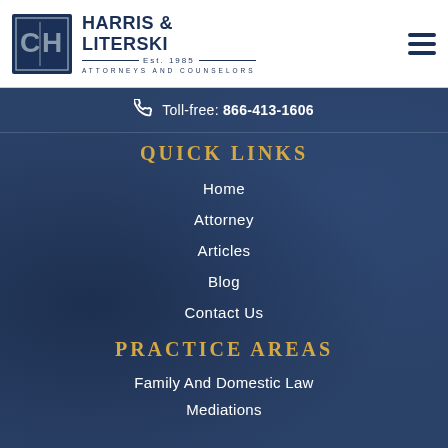Harris & Literski — Est. 1985 — Attorneys and Counselors
Toll-free: 866-413-1606
QUICK LINKS
Home
Attorney
Articles
Blog
Contact Us
PRACTICE AREAS
Family And Domestic Law
Mediations